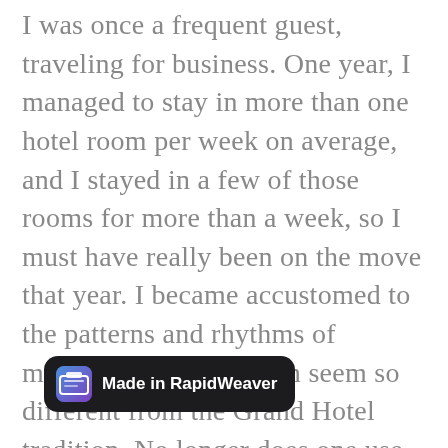I was once a frequent guest, traveling for business. One year, I managed to stay in more than one hotel room per week on average, and I stayed in a few of those rooms for more than a week, so I must have really been on the move that year. I became accustomed to the patterns and rhythms of modern Hoteling, which seem so different from the Grand Hotel tradition. No longer does one use the lobby as an extended sitting room, for instance, taking to an overstuffed chair to read or simply people watch. Modern hotel lobbies seem reserved only for transitions, for checking in and checking out and nothing else. They usually feature little furniture other than a front desk and a concierge stand. [partial line obscured] e.
[Figure (screenshot): A dark rounded toast notification bar reading 'Made in RapidWeaver' with a blue/purple gradient app icon on the left.]